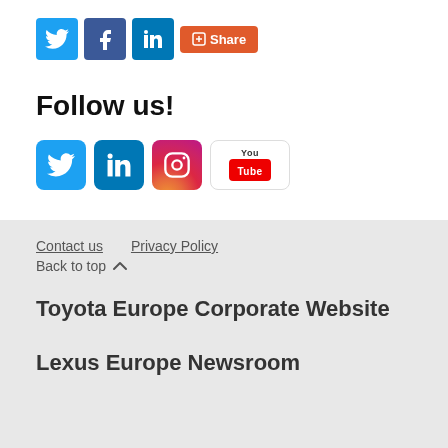[Figure (logo): Social share icons: Twitter, Facebook, LinkedIn, and Share button]
Follow us!
[Figure (logo): Follow us social media icons: Twitter, LinkedIn, Instagram, YouTube]
Contact us   Privacy Policy
Back to top ^
Toyota Europe Corporate Website
Lexus Europe Newsroom